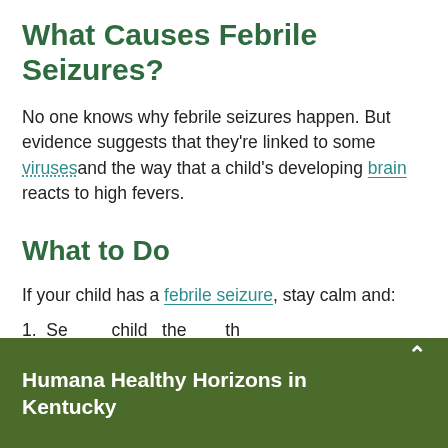What Causes Febrile Seizures?
No one knows why febrile seizures happen. But evidence suggests that they're linked to some viruses and the way that a child's developing brain reacts to high fevers.
What to Do
If your child has a febrile seizure, stay calm and:
Humana Healthy Horizons in Kentucky